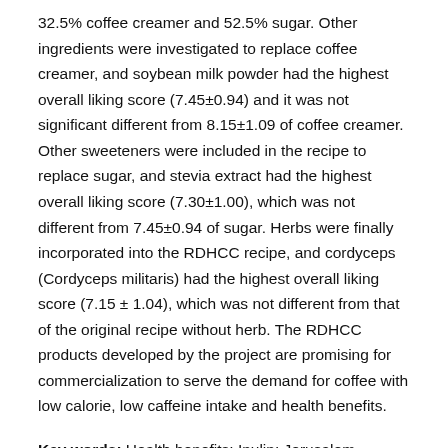32.5% coffee creamer and 52.5% sugar. Other ingredients were investigated to replace coffee creamer, and soybean milk powder had the highest overall liking score (7.45±0.94) and it was not significant different from 8.15±1.09 of coffee creamer. Other sweeteners were included in the recipe to replace sugar, and stevia extract had the highest overall liking score (7.30±1.00), which was not different from 7.45±0.94 of sugar. Herbs were finally incorporated into the RDHCC recipe, and cordyceps (Cordyceps militaris) had the highest overall liking score (7.15 ± 1.04), which was not different from that of the original recipe without herb. The RDHCC products developed by the project are promising for commercialization to serve the demand for coffee with low calorie, low caffeine intake and health benefits.
Key words: Health benefits; Inulin; Jerusalem artichoke; Soy milk; Stevia.
References